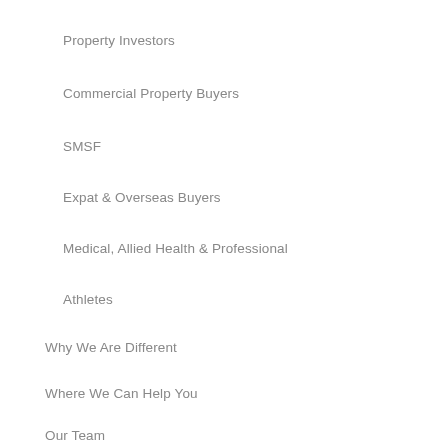Property Investors
Commercial Property Buyers
SMSF
Expat & Overseas Buyers
Medical, Allied Health & Professional
Athletes
Why We Are Different
Where We Can Help You
Our Team